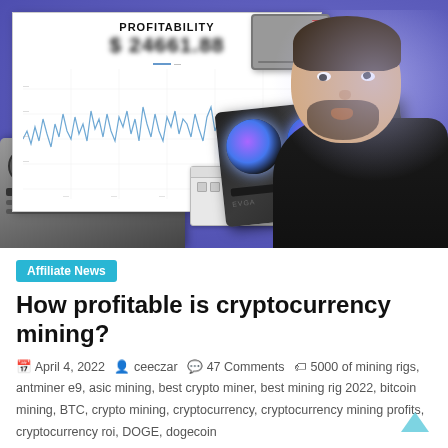[Figure (photo): Thumbnail image showing a profitability chart with line graph, ASIC mining rigs, a GPU graphics card, a PSU, a laptop, and a man looking surprised, all on a purple background.]
Affiliate News
How profitable is cryptocurrency mining?
April 4, 2022   ceeczar   47 Comments   5000 of mining rigs, antminer e9, asic mining, best crypto miner, best mining rig 2022, bitcoin mining, BTC, crypto mining, cryptocurrency, cryptocurrency mining profits, cryptocurrency roi, DOGE, dogecoin